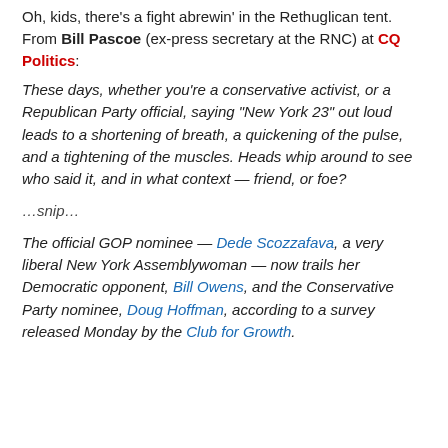Oh, kids, there's a fight abrewin' in the Rethuglican tent. From Bill Pascoe (ex-press secretary at the RNC) at CQ Politics:
These days, whether you're a conservative activist, or a Republican Party official, saying "New York 23" out loud leads to a shortening of breath, a quickening of the pulse, and a tightening of the muscles. Heads whip around to see who said it, and in what context — friend, or foe?
…snip…
The official GOP nominee — Dede Scozzafava, a very liberal New York Assemblywoman — now trails her Democratic opponent, Bill Owens, and the Conservative Party nominee, Doug Hoffman, according to a survey released Monday by the Club for Growth.